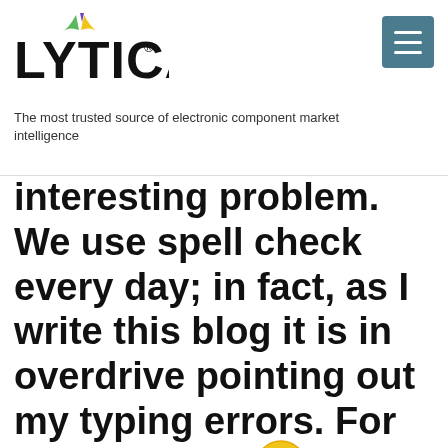LYTICA® — The most trusted source of electronic component market intelligence
interesting problem. We use spell check every day; in fact, as I write this blog it is in overdrive pointing out my typing errors. For spell-checking to work, one needs a comprehensive library against which words can be compared, as well as rules to determine how far a real word is from what was typed. The “how far off” part is usually determined by